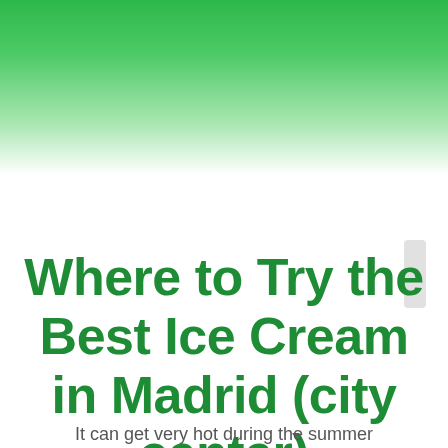[Figure (illustration): Green gradient banner at top of page, fading from dark green at top to white at bottom]
Where to Try the Best Ice Cream in Madrid (city center)
It can get very hot during the summer